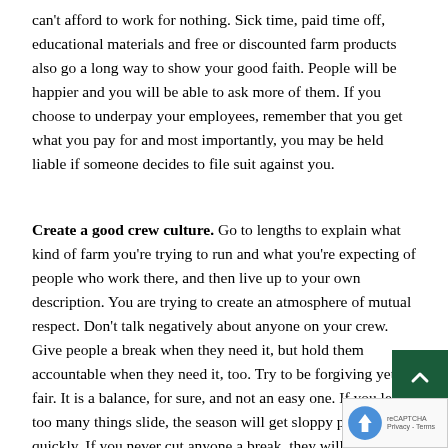can't afford to work for nothing. Sick time, paid time off, educational materials and free or discounted farm products also go a long way to show your good faith. People will be happier and you will be able to ask more of them. If you choose to underpay your employees, remember that you get what you pay for and most importantly, you may be held liable if someone decides to file suit against you.
Create a good crew culture. Go to lengths to explain what kind of farm you're trying to run and what you're expecting of people who work there, and then live up to your own description. You are trying to create an atmosphere of mutual respect. Don't talk negatively about anyone on your crew. Give people a break when they need it, but hold them accountable when they need it, too. Try to be forgiving yet fair. It is a balance, for sure, and not an easy one. If you let too many things slide, the season will get sloppy pretty quickly. If you never cut anyone a break, they will eventually get fed up and leave.